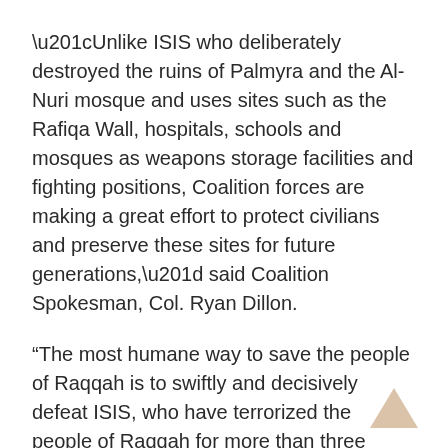“Unlike ISIS who deliberately destroyed the ruins of Palmyra and the Al-Nuri mosque and uses sites such as the Rafiqa Wall, hospitals, schools and mosques as weapons storage facilities and fighting positions, Coalition forces are making a great effort to protect civilians and preserve these sites for future generations,” said Coalition Spokesman, Col. Ryan Dillon.
“The most humane way to save the people of Raqqah is to swiftly and decisively defeat ISIS, who have terrorized the people of Raqqah for more than three years. Only this way, can the people of Raqqah be saved and city return to peace.”
Advertisement